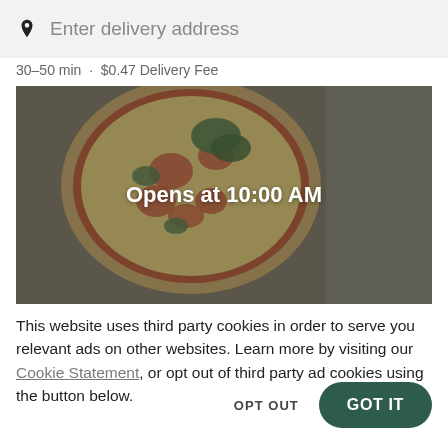[Figure (screenshot): Search bar with location pin icon and placeholder text 'Enter delivery address' on a light grey background]
30–50 min  ·  $0.47 Delivery Fee
[Figure (photo): Pizza with toppings and herbs on a dark overlay background with centered text 'Opens at 10:00 AM']
This website uses third party cookies in order to serve you relevant ads on other websites. Learn more by visiting our Cookie Statement, or opt out of third party ad cookies using the button below.
OPT OUT
GOT IT